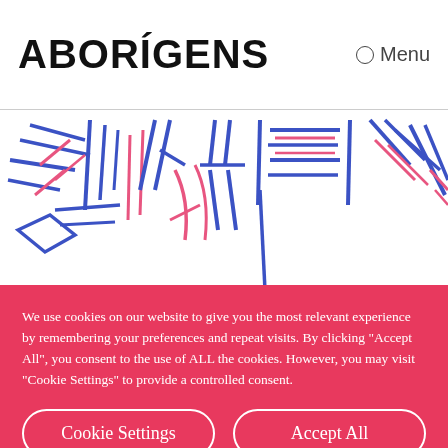ABORIGENS
Menu
[Figure (illustration): Abstract line art illustration of human figures rendered in blue and red/pink diagonal and geometric strokes on white background]
We use cookies on our website to give you the most relevant experience by remembering your preferences and repeat visits. By clicking "Accept All", you consent to the use of ALL the cookies. However, you may visit "Cookie Settings" to provide a controlled consent.
Cookie Settings
Accept All